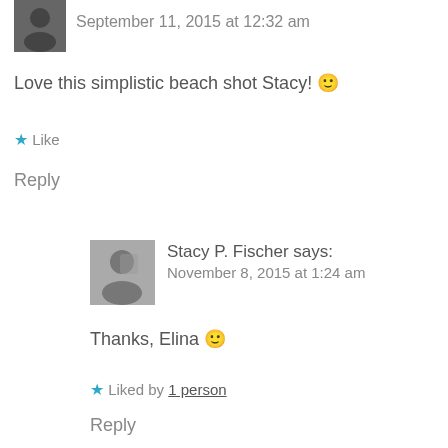[Figure (photo): Small black and white avatar thumbnail in top left corner]
September 11, 2015 at 12:32 am
Love this simplistic beach shot Stacy! 🙂
★ Like
Reply
[Figure (photo): Black and white avatar of Stacy P. Fischer]
Stacy P. Fischer says:
November 8, 2015 at 1:24 am
Thanks, Elina 🙂
★ Liked by 1 person
Reply